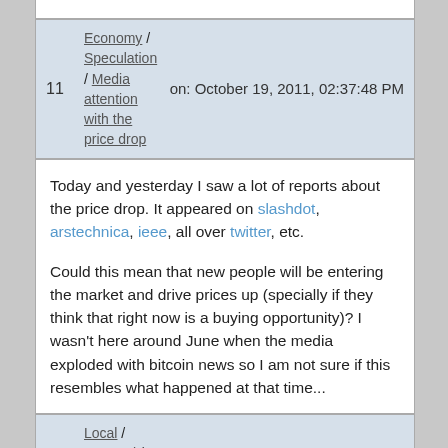Economy / Speculation / Media attention with the price drop  on: October 19, 2011, 02:37:48 PM
Today and yesterday I saw a lot of reports about the price drop. It appeared on slashdot, arstechnica, ieee, all over twitter, etc.

Could this mean that new people will be entering the market and drive prices up (specially if they think that right now is a buying opportunity)? I wasn't here around June when the media exploded with bitcoin news so I am not sure if this resembles what happened at that time...
Local / Portugal / Comunidade Bitcoin em Portugal  on: October 19, 2011, 12:09:01 PM
Há por aqui muitos portugueses? Costumam fazer mining, especular no mercado ou nenhum dos dois? E há projectos em desenvolvimento? Reparei que no sapo code bits deste ano alguém vai fazer uma apresentação sobre bitcoins. Se conseguir ainda lá dou um salto.